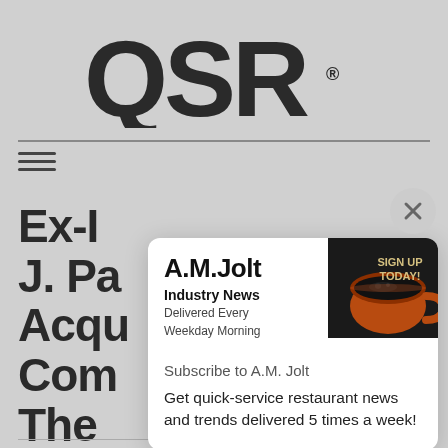[Figure (logo): QSR magazine logo in large bold black letters with registered trademark symbol]
[Figure (screenshot): A.M. Jolt newsletter signup popup overlay showing coffee cup image, 'Subscribe to A.M. Jolt' heading, and newsletter description text]
Ex-D J. Pa Acqu Com The
Subscribe to A.M. Jolt
Get quick-service restaurant news and trends delivered 5 times a week!